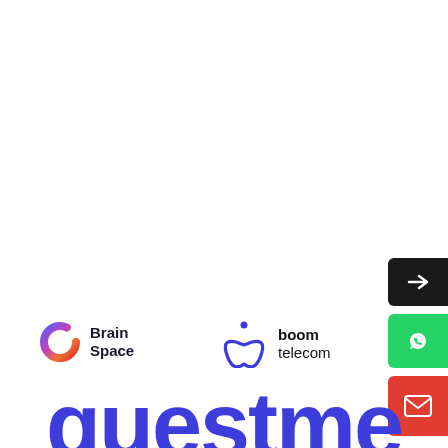[Figure (logo): Brain Space logo — circular gradient icon (blue-purple-orange-red) with a gap, next to bold text 'Brain Space']
[Figure (logo): Boom Telecom logo — stylized infinity/person figure in blue with dot, next to text 'boom telecom']
[Figure (logo): Ponce logo — small text 'PONCE' with a red and white geometric kite/triangle shape]
[Figure (screenshot): UI widget buttons on right edge: black arrow button, green WhatsApp button, red email/envelope button]
questme